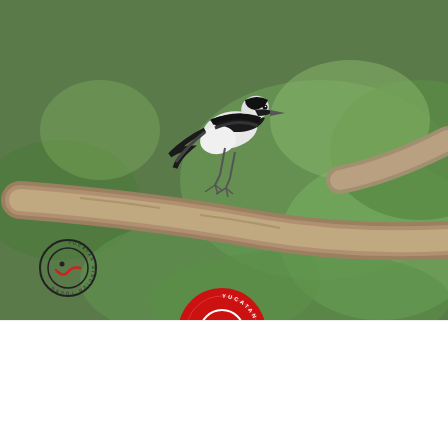[Figure (photo): Close-up photograph of a black and white bird (likely a Yucatan Woodpecker or similar species) perched on a tree branch, with green foliage in the background. Two Yucatan Birding Tours logos are visible — one black outline logo in the lower-left of the photo, one red circular logo centered at the bottom overlapping the photo and white section.]
BIRDING YUCATAN PENINSULA  BIRDS  BIRDING MEXICO
6 day birding trip – July-August 2022